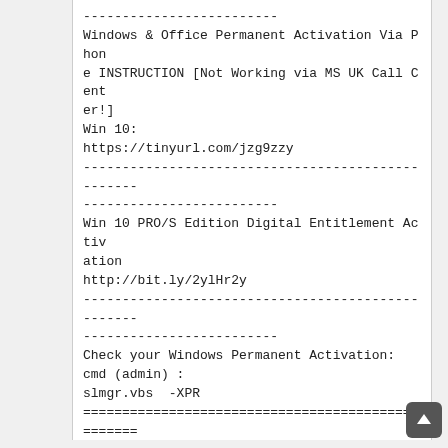-------------------------
Windows & Office Permanent Activation Via Phone INSTRUCTION [Not Working via MS UK Call Center!]
Win 10:
https://tinyurl.com/jzg9zzy
--------------------------------------------------
-------------------------
Win 10 PRO/S Edition Digital Entitlement Activation
http://bit.ly/2ylHr2y
--------------------------------------------------
-------------------------
Check your Windows Permanent Activation:
cmd (admin) :
slmgr.vbs  -XPR
==================================================
=====================================
november_ra1n
==================================================
=====================================
Fake/Block key database: